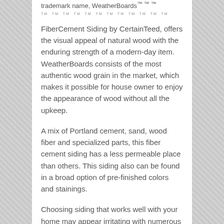trademark name, WeatherBoards™ ™ ™ ™ TM TM TM TM TM TM TM TM TM TM TM
FiberCement Siding by CertainTeed, offers the visual appeal of natural wood with the enduring strength of a modern-day item. WeatherBoards consists of the most authentic wood grain in the market, which makes it possible for house owner to enjoy the appearance of wood without all the upkeep.
A mix of Portland cement, sand, wood fiber and specialized parts, this fiber cement siding has a less permeable place than others. This siding also can be found in a broad option of pre-finished colors and stainings.
Choosing siding that works well with your home may appear irritating with numerous shapes, styles and trims on the market today. CertainTeed...